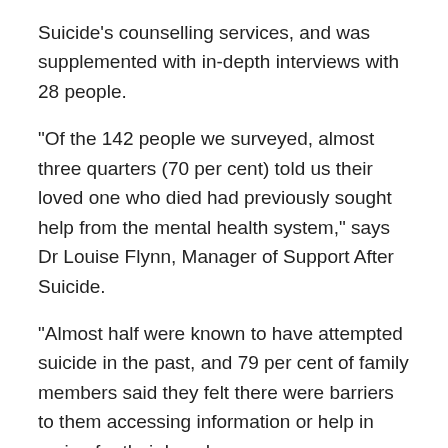Suicide's counselling services, and was supplemented with in-depth interviews with 28 people.
"Of the 142 people we surveyed, almost three quarters (70 per cent) told us their loved one who died had previously sought help from the mental health system," says Dr Louise Flynn, Manager of Support After Suicide.
"Almost half were known to have attempted suicide in the past, and 79 per cent of family members said they felt there were barriers to them accessing information or help in caring for their loved one.
"These serious gaps identified by our participants mean our mental health system is failing to be the strong,